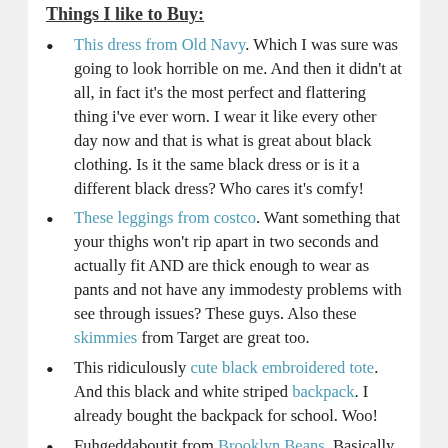Things I like to Buy:
This dress from Old Navy. Which I was sure was going to look horrible on me. And then it didn't at all, in fact it's the most perfect and flattering thing i've ever worn. I wear it like every other day now and that is what is great about black clothing. Is it the same black dress or is it a different black dress? Who cares it's comfy!
These leggings from costco. Want something that your thighs won't rip apart in two seconds and actually fit AND are thick enough to wear as pants and not have any immodesty problems with see through issues? These guys. Also these skimmies from Target are great too.
This ridiculously cute black embroidered tote. And this black and white striped backpack. I already bought the backpack for school. Woo!
Fuhgeddaboutit from Brooklyn Beans. Basically every dark roast from Brooklyn Beans